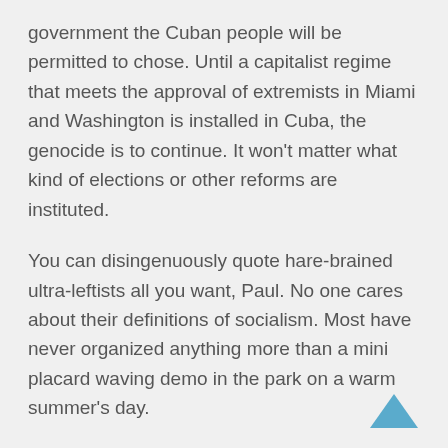government the Cuban people will be permitted to chose. Until a capitalist regime that meets the approval of extremists in Miami and Washington is installed in Cuba, the genocide is to continue. It won't matter what kind of elections or other reforms are instituted.
You can disingenuously quote hare-brained ultra-leftists all you want, Paul. No one cares about their definitions of socialism. Most have never organized anything more than a mini placard waving demo in the park on a warm summer's day.